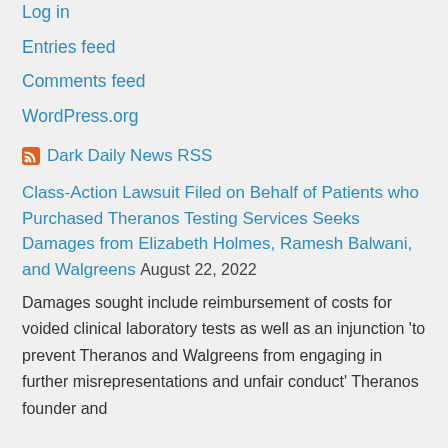Log in
Entries feed
Comments feed
WordPress.org
Dark Daily News RSS
Class-Action Lawsuit Filed on Behalf of Patients who Purchased Theranos Testing Services Seeks Damages from Elizabeth Holmes, Ramesh Balwani, and Walgreens
August 22, 2022
Damages sought include reimbursement of costs for voided clinical laboratory tests as well as an injunction 'to prevent Theranos and Walgreens from engaging in further misrepresentations and unfair conduct' Theranos founder and